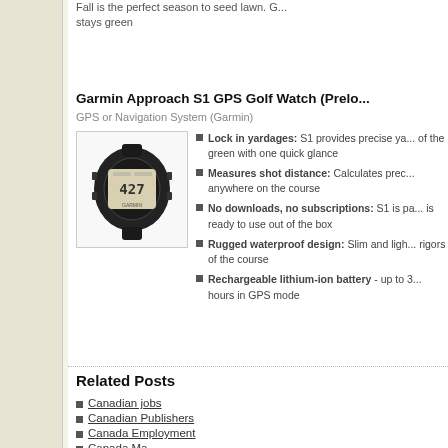Fall is the perfect season to seed lawn. G... stays green
Garmin Approach S1 GPS Golf Watch (Prelo...
GPS or Navigation System (Garmin)
[Figure (photo): Garmin Approach S1 GPS Golf Watch - black sport watch with digital display showing 427]
Lock in yardages: S1 provides precise ya... of the green with one quick glance
Measures shot distance: Calculates prec... anywhere on the course
No downloads, no subscriptions: S1 is pa... is ready to use out of the box
Rugged waterproof design: Slim and ligh... rigors of the course
Rechargeable lithium-ion battery - up to 3... hours in GPS mode
Related Posts
Canadian jobs
Canadian Publishers
Canada Employment
Canada Magazines